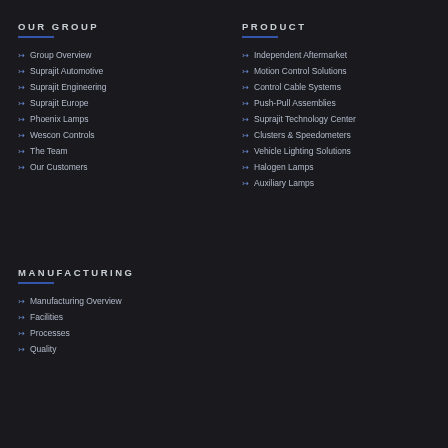OUR GROUP
Group Overview
Suprajit Automotive
Suprajit Engineering
Suprajit Europe
Phoenix Lamps
Wescon Controls
The Team
Our Customers
PRODUCT
Independent Aftermarket
Motion Control Solutions
Control Cable Systems
Push-Pull Assemblies
Suprajit Technology Center
Clusters & Speedometers
Vehicle Lighting Solutions
Halogen Lamps
Auxiliary Lamps
MANUFACTURING
Manufacturing Overview
Facilities
Processes
Quality